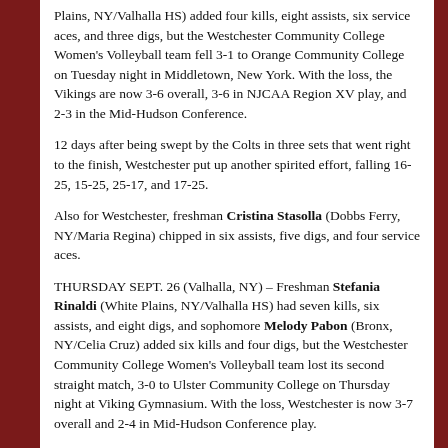Plains, NY/Valhalla HS) added four kills, eight assists, six service aces, and three digs, but the Westchester Community College Women's Volleyball team fell 3-1 to Orange Community College on Tuesday night in Middletown, New York. With the loss, the Vikings are now 3-6 overall, 3-6 in NJCAA Region XV play, and 2-3 in the Mid-Hudson Conference.
12 days after being swept by the Colts in three sets that went right to the finish, Westchester put up another spirited effort, falling 16-25, 15-25, 25-17, and 17-25.
Also for Westchester, freshman Cristina Stasolla (Dobbs Ferry, NY/Maria Regina) chipped in six assists, five digs, and four service aces.
THURSDAY SEPT. 26 (Valhalla, NY) – Freshman Stefania Rinaldi (White Plains, NY/Valhalla HS) had seven kills, six assists, and eight digs, and sophomore Melody Pabon (Bronx, NY/Celia Cruz) added six kills and four digs, but the Westchester Community College Women's Volleyball team lost its second straight match, 3-0 to Ulster Community College on Thursday night at Viking Gymnasium. With the loss, Westchester is now 3-7 overall and 2-4 in Mid-Hudson Conference play.
Ulster swept the match 25-18, 25-16, and 25-21.